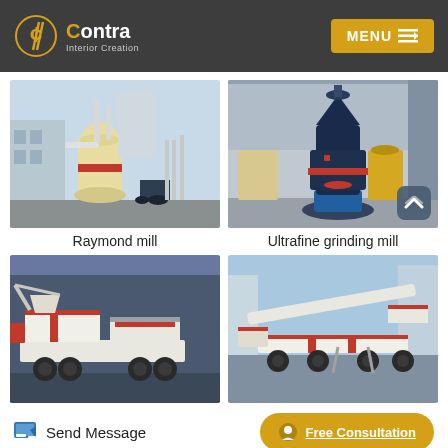Contra Interior Creation — MENU
[Figure (photo): Raymond mill machine in industrial facility, cream/yellow colored grinding equipment with white piping]
Raymond mill
[Figure (photo): Ultrafine grinding mill — large dark navy blue conical tower machine on blue stand inside industrial warehouse]
Ultrafine grinding mill
[Figure (photo): Mobile crushing station on wheels — white and red heavy machinery in outdoor industrial setting]
[Figure (photo): Mobile screening/conveying plant — white and red large industrial belt conveyor machinery outdoors]
Send Message
Free Consultation